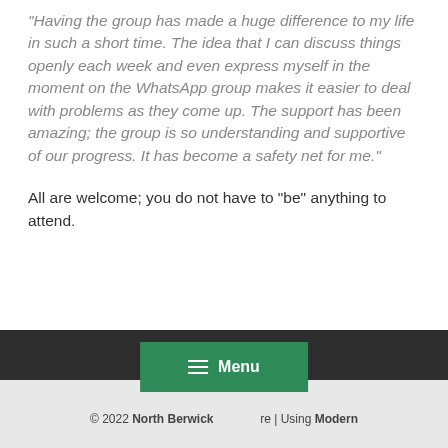“Having the group has made a huge difference to my life in such a short time. The idea that I can discuss things openly each week and even express myself in the moment on the WhatsApp group makes it easier to deal with problems as they come up. The support has been amazing; the group is so understanding and supportive of our progress. It has become a safety net for me.”
All are welcome; you do not have to “be” anything to attend.
© 2022 North Berwick ... | Using Modern